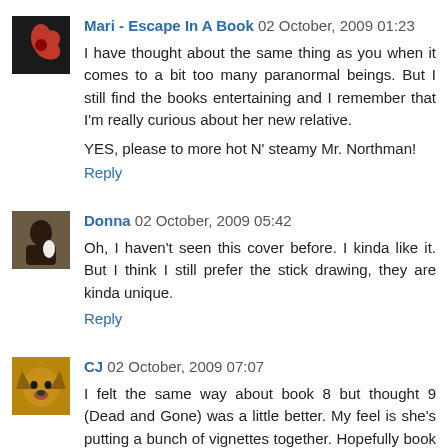[Figure (photo): Avatar of Mari - Escape In A Book, showing a red flower on a dark background]
Mari - Escape In A Book 02 October, 2009 01:23
I have thought about the same thing as you when it comes to a bit too many paranormal beings. But I still find the books entertaining and I remember that I'm really curious about her new relative.

YES, please to more hot N' steamy Mr. Northman!
Reply
[Figure (photo): Avatar of Donna, showing a person with dark hair holding something white]
Donna 02 October, 2009 05:42
Oh, I haven't seen this cover before. I kinda like it. But I think I still prefer the stick drawing, they are kinda unique.
Reply
[Figure (photo): Avatar of CJ, showing a dog (German Shepherd) looking up]
CJ 02 October, 2009 07:07
I felt the same way about book 8 but thought 9 (Dead and Gone) was a little better. My feel is she's putting a bunch of vignettes together. Hopefully book 10 will be different. If it's